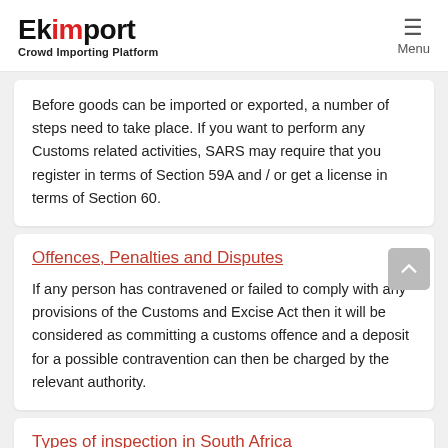Ekimport Crowd Importing Platform | Menu
Before goods can be imported or exported, a number of steps need to take place. If you want to perform any Customs related activities, SARS may require that you register in terms of Section 59A and / or get a license in terms of Section 60.
Offences, Penalties and Disputes
If any person has contravened or failed to comply with any provisions of the Customs and Excise Act then it will be considered as committing a customs offence and a deposit for a possible contravention can then be charged by the relevant authority.
Types of inspection in South Africa